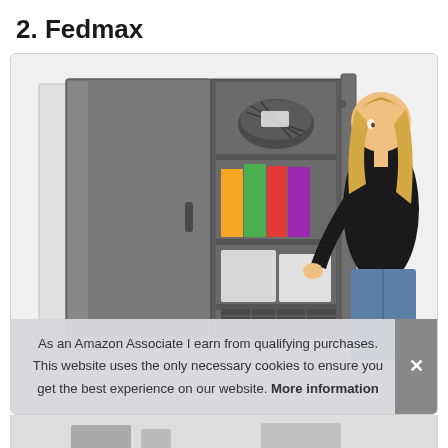2. Fedmax
[Figure (photo): Photo of a gray metal storage cabinet with open door showing shelves with items (basket, colored binders, boxes). A blonde woman in black top and jeans stands to the right, opening the cabinet door.]
As an Amazon Associate I earn from qualifying purchases. This website uses the only necessary cookies to ensure you get the best experience on our website. More information